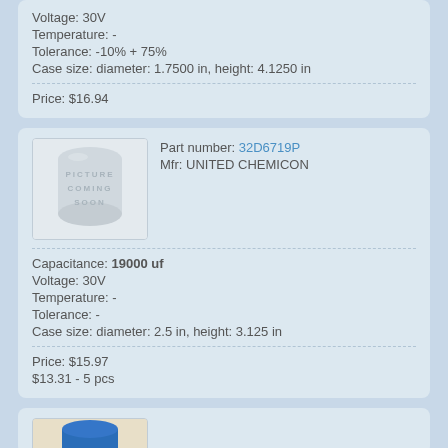Voltage: 30V
Temperature: -
Tolerance: -10% + 75%
Case size: diameter: 1.7500 in, height: 4.1250 in
Price: $16.94
[Figure (photo): Picture Coming Soon placeholder image for electronic component]
Part number: 32D6719P
Mfr: UNITED CHEMICON
Capacitance: 19000 uf
Voltage: 30V
Temperature: -
Tolerance: -
Case size: diameter: 2.5 in, height: 3.125 in
Price: $15.97
$13.31 - 5 pcs
[Figure (photo): Partial view of a blue electronic component, bottom of third product card]